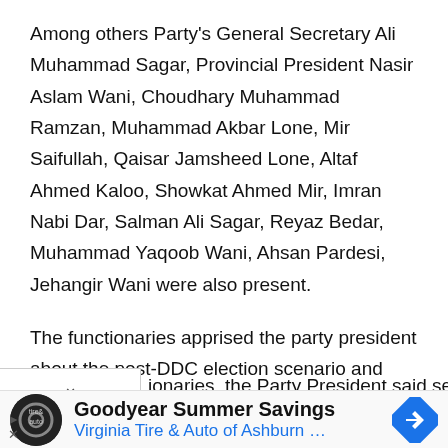Among others Party's General Secretary Ali Muhammad Sagar, Provincial President Nasir Aslam Wani, Choudhary Muhammad Ramzan, Muhammad Akbar Lone, Mir Saifullah, Qaisar Jamsheed Lone, Altaf Ahmed Kaloo, Showkat Ahmed Mir, Imran Nabi Dar, Salman Ali Sagar, Reyaz Bedar, Muhammad Yaqoob Wani, Ahsan Pardesi, Jehangir Wani were also present.
The functionaries apprised the party president about the post-DDC election scenario and other matters concerning the public and party in general. While interacting with the ionaries, the Party President said serving people
[Figure (screenshot): Advertisement banner for Goodyear Summer Savings by Virginia Tire & Auto of Ashburn, featuring a circular logo with tire and auto branding, ad title text, and a blue navigation arrow icon on the right.]